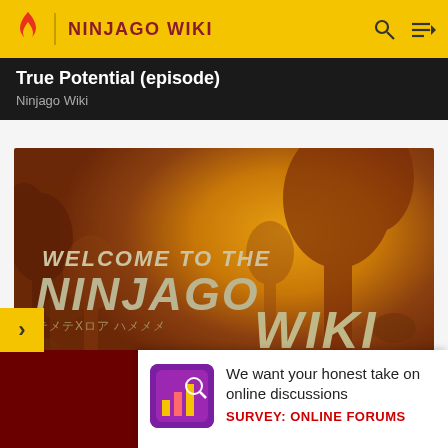NINJAGO WIKI
True Potential (episode)
Ninjago Wiki
[Figure (screenshot): Welcome to the Ninjago Wiki banner image with forest/tree background in golden tones. Text reads: WELCOME TO THE NINJAGO WIKI. Subtitle: THE ULTIMATE SITE ABOUT LEGO NINJAGO THAT ANYONE CAN EDIT!]
Ninjago Wiki
Nin
We want your honest take on online discussions
SURVEY: ONLINE FORUMS